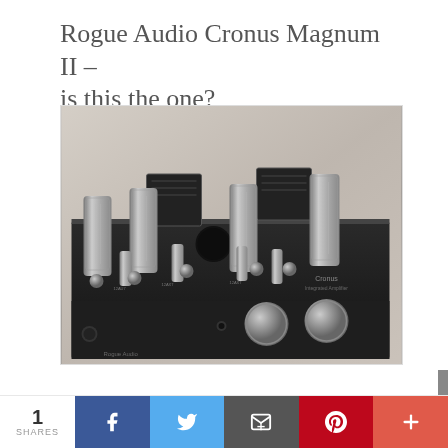Rogue Audio Cronus Magnum II – is this the one?
August 7, 2018 | Written by SEE MENG
[Figure (photo): Photo of a Rogue Audio Cronus Magnum II integrated tube amplifier, showing vacuum tubes and control knobs on a black chassis]
1
SHARES